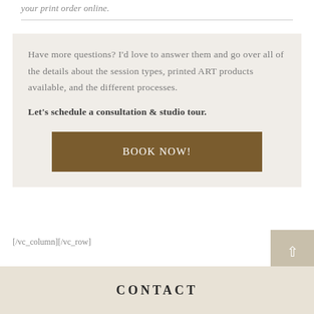your print order online.
Have more questions? I'd love to answer them and go over all of the details about the session types, printed ART products available, and the different processes. Let's schedule a consultation & studio tour.
BOOK NOW!
[/vc_column][/vc_row]
CONTACT